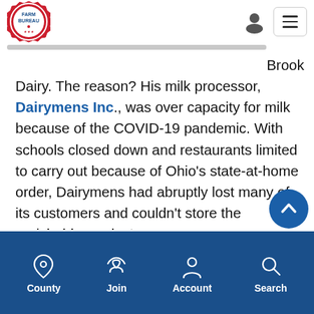Farm Bureau
Brook Dairy. The reason? His milk processor, Dairymens Inc., was over capacity for milk because of the COVID-19 pandemic. With schools closed down and restaurants limited to carry out because of Ohio's state-at-home order, Dairymens had abruptly lost many of its customers and couldn't store the perishable product.

“I had to dump a day’s worth of milk because demand for milk in the food service industry came to a halt. Fortunately I only had to dump milk once so that’s been the silver l
County | Join | Account | Search